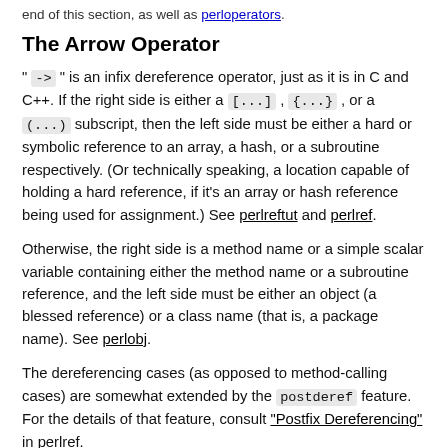end of this section, as well as perloperators.
The Arrow Operator
" -> " is an infix dereference operator, just as it is in C and C++. If the right side is either a [...] , {...} , or a (...) subscript, then the left side must be either a hard or symbolic reference to an array, a hash, or a subroutine respectively. (Or technically speaking, a location capable of holding a hard reference, if it's an array or hash reference being used for assignment.) See perlreftut and perlref.
Otherwise, the right side is a method name or a simple scalar variable containing either the method name or a subroutine reference, and the left side must be either an object (a blessed reference) or a class name (that is, a package name). See perlobj.
The dereferencing cases (as opposed to method-calling cases) are somewhat extended by the postderef feature. For the details of that feature, consult "Postfix Dereferencing" in perlref.